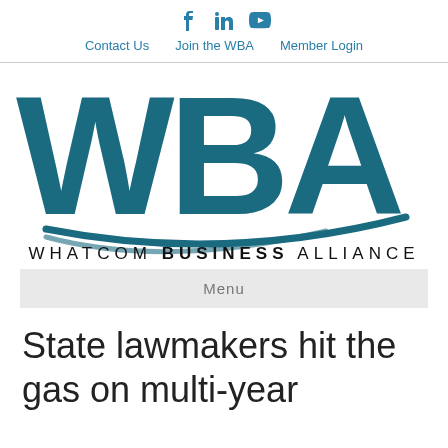Contact Us   Join the WBA   Member Login
[Figure (logo): WBA - Whatcom Business Alliance logo with large teal WBA letters and swoosh underline]
Menu
State lawmakers hit the gas on multi-year